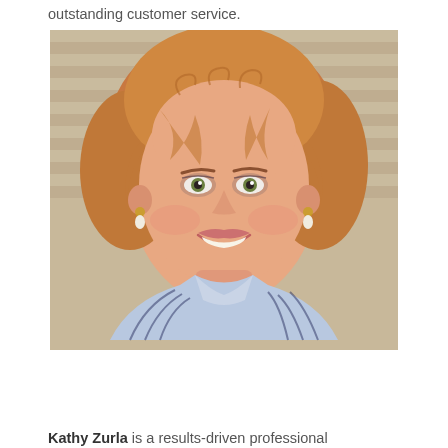outstanding customer service.
[Figure (photo): Portrait photo of Kathy Zurla, a woman with curly reddish-blonde hair, smiling, wearing pearl drop earrings and a light blue striped blouse, photographed outdoors against a beige siding background.]
Kathy Zurla is a results-driven professional